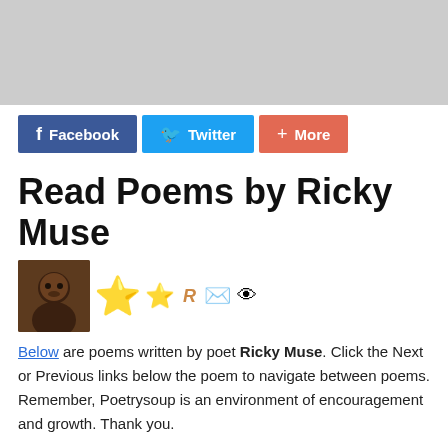[Figure (other): Gray banner image at the top of the page]
[Figure (other): Share buttons row: Facebook (blue), Twitter (light blue), More (coral/red)]
Read Poems by Ricky Muse
[Figure (other): Profile photo of Ricky Muse with star badge, small star, R badge, envelope icon, and eye icon]
Below are poems written by poet Ricky Muse. Click the Next or Previous links below the poem to navigate between poems. Remember, Poetrysoup is an environment of encouragement and growth. Thank you.
List of ALL Ricky Muse poems
Best Ricky Muse Poems
+ Follow Poet